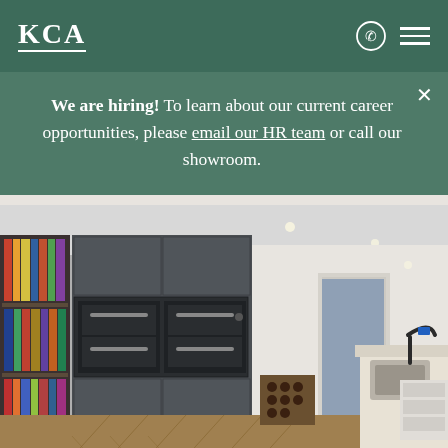KCA
We are hiring! To learn about our current career opportunities, please email our HR team or call our showroom.
[Figure (photo): Interior photo of a modern kitchen with dark grey fitted cabinetry, built-in double ovens, a bookshelf on the left side filled with colourful books, herringbone parquet flooring, a kitchen island with a sink and tall mixer tap on the right, and an open-plan view through to another room in the background.]